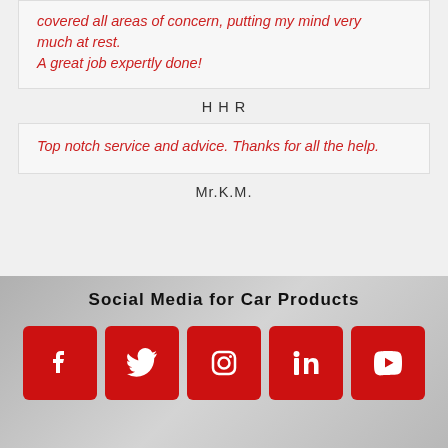covered all areas of concern, putting my mind very much at rest.
A great job expertly done!
HHR
Top notch service and advice. Thanks for all the help.
Mr.K.M.
Social Media for Car Products
[Figure (infographic): Five red social media icon buttons: Facebook, Twitter, Instagram, LinkedIn, YouTube]